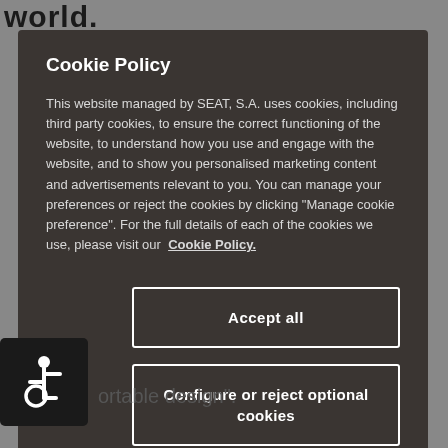world.
Cookie Policy
This website managed by SEAT, S.A. uses cookies, including third party cookies, to ensure the correct functioning of the website, to understand how you use and engage with the website, and to show you personalised marketing content and advertisements relevant to you. You can manage your preferences or reject the cookies by clicking "Manage cookie preference". For the full details of each of the cookies we use, please visit our Cookie Policy.
Accept all
Configure or reject optional cookies
[Figure (illustration): Accessibility icon - white wheelchair user symbol on dark background]
ortable design".